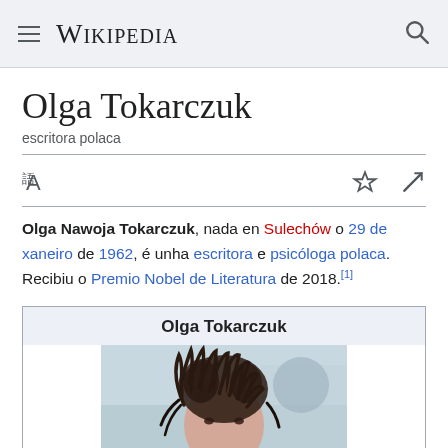Wikipedia
Olga Tokarczuk
escritora polaca
Olga Nawoja Tokarczuk, nada en Sulechów o 29 de xaneiro de 1962, é unha escritora e psicóloga polaca. Recibiu o Premio Nobel de Literatura de 2018.[1]
[Figure (infographic): Infobox card titled 'Olga Tokarczuk' with a photograph of the person showing dark dreadlocked hair on a light background]